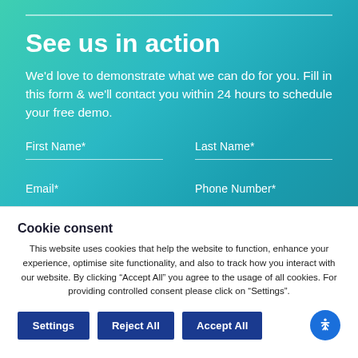See us in action
We'd love to demonstrate what we can do for you. Fill in this form & we'll contact you within 24 hours to schedule your free demo.
First Name*
Last Name*
Email*
Phone Number*
Cookie consent
This website uses cookies that help the website to function, enhance your experience, optimise site functionality, and also to track how you interact with our website. By clicking “Accept All” you agree to the usage of all cookies. For providing controlled consent please click on “Settings”.
Settings | Reject All | Accept All